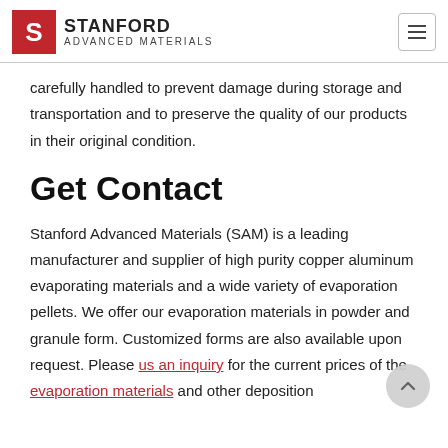STANFORD Advanced Materials
carefully handled to prevent damage during storage and transportation and to preserve the quality of our products in their original condition.
Get Contact
Stanford Advanced Materials (SAM) is a leading manufacturer and supplier of high purity copper aluminum evaporating materials and a wide variety of evaporation pellets. We offer our evaporation materials in powder and granule form. Customized forms are also available upon request. Please us an inquiry for the current prices of the evaporation materials and other deposition